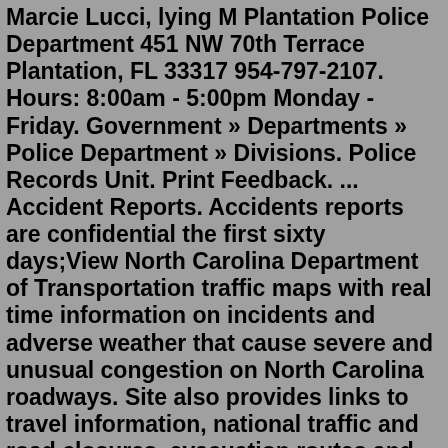Marcie Lucci, lying M Plantation Police Department 451 NW 70th Terrace Plantation, FL 33317 954-797-2107. Hours: 8:00am - 5:00pm Monday - Friday. Government » Departments » Police Department » Divisions. Police Records Unit. Print Feedback. ... Accident Reports. Accidents reports are confidential the first sixty days;View North Carolina Department of Transportation traffic maps with real time information on incidents and adverse weather that cause severe and unusual congestion on North Carolina roadways. Site also provides links to travel information, national traffic and road closures, evacuation routes and maps, and more. Return to Top.@daviepolice. Davie Police Department Official Instagram page of the Town of Davie Police Department. #ARRESTALERT: Davie Police Criminal Investigation Division identified suspects involved in the 'Off the Wall' incident on January 22, 2022.FDLE Special Agents handle a wide variety of crimes and assist local police and sheriff's offices with limited resources, to include, homicide, public official